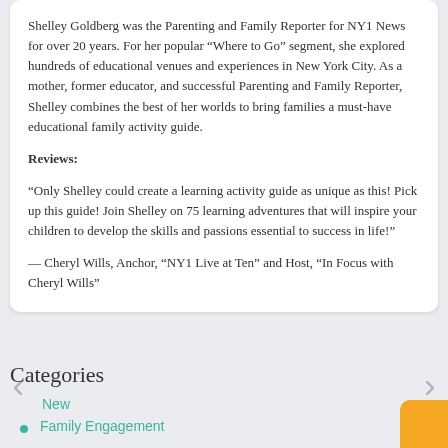Shelley Goldberg was the Parenting and Family Reporter for NY1 News for over 20 years. For her popular “Where to Go” segment, she explored hundreds of educational venues and experiences in New York City. As a mother, former educator, and successful Parenting and Family Reporter, Shelley combines the best of her worlds to bring families a must-have educational family activity guide.
Reviews:
“Only Shelley could create a learning activity guide as unique as this! Pick up this guide! Join Shelley on 75 learning adventures that will inspire your children to develop the skills and passions essential to success in life!”
— Cheryl Wills, Anchor, “NY1 Live at Ten” and Host, “In Focus with Cheryl Wills”
Categories
New
Family Engagement